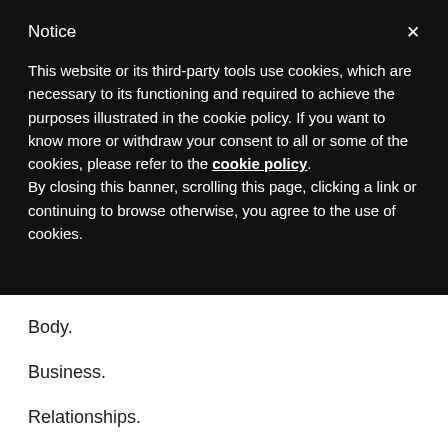Notice
This website or its third-party tools use cookies, which are necessary to its functioning and required to achieve the purposes illustrated in the cookie policy. If you want to know more or withdraw your consent to all or some of the cookies, please refer to the cookie policy.
By closing this banner, scrolling this page, clicking a link or continuing to browse otherwise, you agree to the use of cookies.
Body.
Business.
Relationships.
Following-through on those commitments, seeing the early results. More important? Inspiring others to want to "Enter the journey," mind, body, business, relationships, to become their best self.